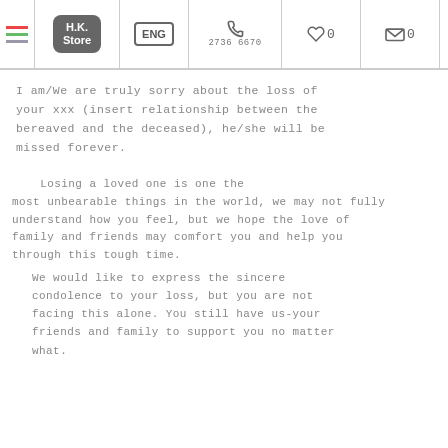H.K. Store | ENG | 2736 6670 | ♥ 0 | 🛒 0 | 👤
I am/We are truly sorry about the loss of your xxx (insert relationship between the bereaved and the deceased), he/she will be missed forever.
Losing a loved one is one the most unbearable things in the world, we may not fully understand how you feel, but we hope the love of family and friends may comfort you and help you through this tough time.
We would like to express the sincere condolence to your loss, but you are not facing this alone. You still have us-your friends and family to support you no matter what.